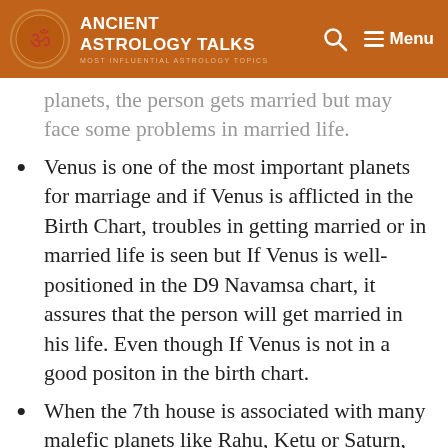ANCIENT ASTROLOGY TALKS — MOST INFLUENTIAL ASTROLOGY TOPICS
planets, the person gets married but may face some problems in married life.
Venus is one of the most important planets for marriage and if Venus is afflicted in the Birth Chart, troubles in getting married or in married life is seen but If Venus is well-positioned in the D9 Navamsa chart, it assures that the person will get married in his life. Even though If Venus is not in a good positon in the birth chart.
When the 7th house is associated with many malefic planets like Rahu, Ketu or Saturn, multiple marriages can happen in the person's life.
However, for multiple marriages to